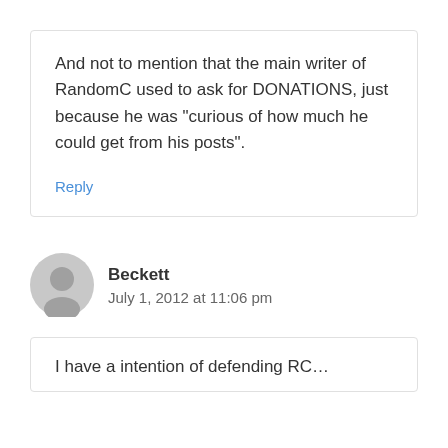And not to mention that the main writer of RandomC used to ask for DONATIONS, just because he was “curious of how much he could get from his posts”.
Reply
Beckett
July 1, 2012 at 11:06 pm
I have a intention of defending RC...